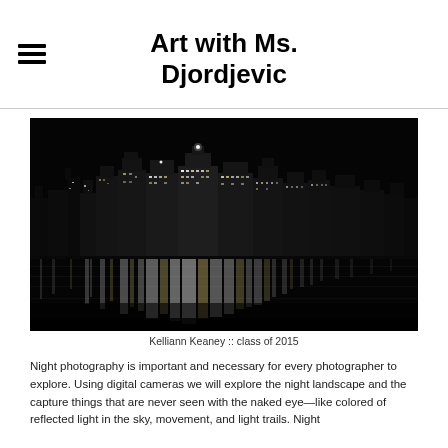Art with Ms. Djordjevic
[Figure (photo): Black and white night cityscape photography showing city skyline lights reflected on water, by Kelliann Keaney, class of 2015]
Kelliann Keaney :: class of 2015
Night photography is important and necessary for every photographer to explore. Using digital cameras we will explore the night landscape and the capture things that are never seen with the naked eye—like colored of reflected light in the sky, movement, and light trails. Night photo...